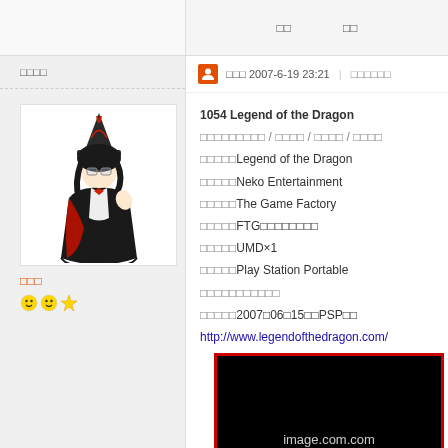□□□□
□□	□□
□□□ 2007-6-19 23:21 | □□□□□□
1054 Legend of the Dragon
□□□□□□□□□ / □□□□ / □□□□ / □□□□
□□□□□Legend of the Dragon
□□□□□Neko Entertainment
□□□□□The Game Factory
□□□□□FTG□□□□□□□□
□□□□□UMD×1
□□□□□Play Station Portable
□□□□□□□□□□□
□□□□□2007□06□15□□PSP□□
http://www.legendofthedragon.com/
[Figure (illustration): Anime character illustration - a dark-clothed female character with glasses and a tall hat]
[Figure (photo): Black image placeholder with text 'image.com.com']